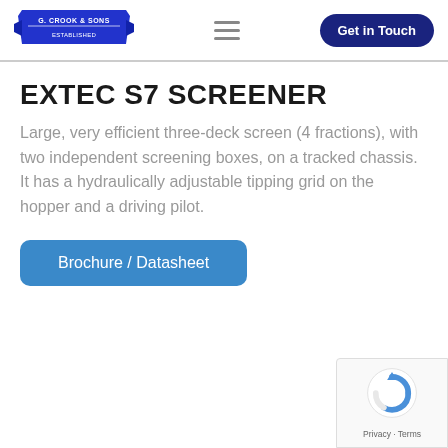G. CROOK & SONS | menu | Get in Touch
EXTEC S7 SCREENER
Large, very efficient three-deck screen (4 fractions), with two independent screening boxes, on a tracked chassis. It has a hydraulically adjustable tipping grid on the hopper and a driving pilot.
Brochure / Datasheet